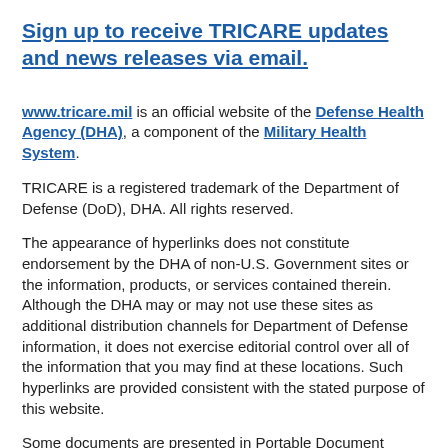Sign up to receive TRICARE updates and news releases via email.
www.tricare.mil is an official website of the Defense Health Agency (DHA), a component of the Military Health System.
TRICARE is a registered trademark of the Department of Defense (DoD), DHA. All rights reserved.
The appearance of hyperlinks does not constitute endorsement by the DHA of non-U.S. Government sites or the information, products, or services contained therein. Although the DHA may or may not use these sites as additional distribution channels for Department of Defense information, it does not exercise editorial control over all of the information that you may find at these locations. Such hyperlinks are provided consistent with the stated purpose of this website.
Some documents are presented in Portable Document Format (PDF). A PDF reader is required for viewing. Download a PDF